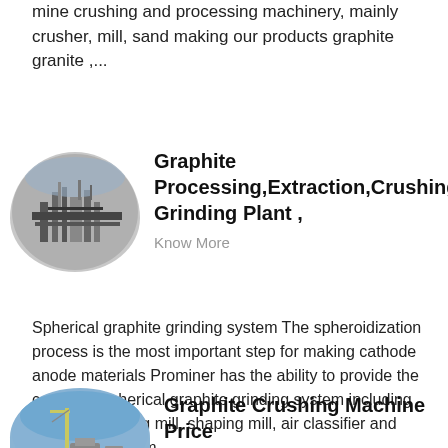mine crushing and processing machinery, mainly crusher, mill, sand making our products graphite granite ,...
[Figure (photo): Industrial processing plant machinery, oval/elliptical cropped image]
Graphite Processing,Extraction,Crushing Grinding Plant ,
Know More
Spherical graphite grinding system The spheroidization process is the most important step for making cathode anode materials Prominer has the ability to provide the complete spherical graphite grinding system including primary crushing mill, shaping mill, air classifier and dedusting system...
[Figure (photo): Outdoor industrial site with crane equipment, elliptical cropped image, blue sky]
Graphite Crushing Machine Price